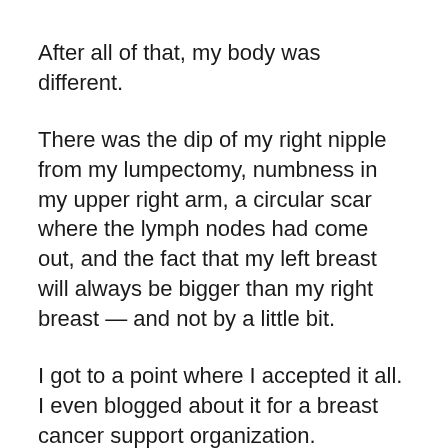After all of that, my body was different.
There was the dip of my right nipple from my lumpectomy, numbness in my upper right arm, a circular scar where the lymph nodes had come out, and the fact that my left breast will always be bigger than my right breast — and not by a little bit.
I got to a point where I accepted it all. I even blogged about it for a breast cancer support organization.
“I see a body that has triumphed. I see a body that has declared victory over cancer. I see an incredibly lucky woman who loves her life and loves the body she lives it in,” I wrote back then.